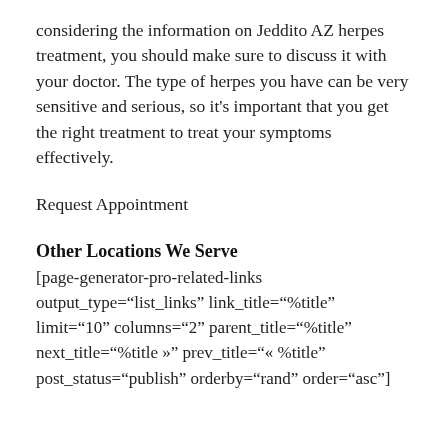considering the information on Jeddito AZ herpes treatment, you should make sure to discuss it with your doctor. The type of herpes you have can be very sensitive and serious, so it's important that you get the right treatment to treat your symptoms effectively.
Request Appointment
Other Locations We Serve
[page-generator-pro-related-links output_type="list_links" link_title="%title" limit="10" columns="2" parent_title="%title" next_title="%title »" prev_title="« %title" post_status="publish" orderby="rand" order="asc"]